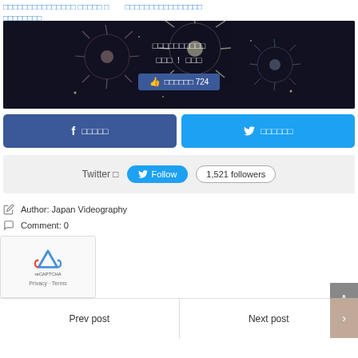□□□□□□□□□□□□□□□ □□□□□ □　　□□□□□□□□□□□□□□□□ □□□□□□□□
[Figure (photo): Fireworks against dark night sky with Japanese text overlay and a Facebook like button showing 724 likes]
f □□□□□
🐦 □□□□□□
Twitter □　 Follow　 1,521 followers
Author: Japan Videography
Comment: 0
Prev post
Next post